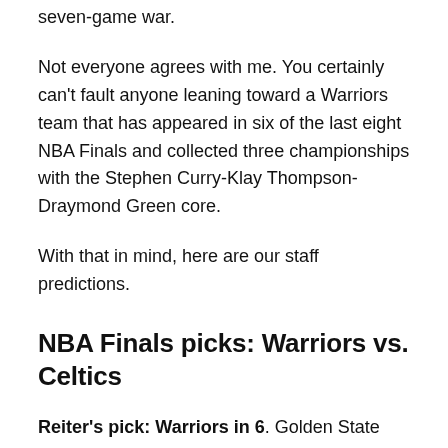seven-game war.
Not everyone agrees with me. You certainly can't fault anyone leaning toward a Warriors team that has appeared in six of the last eight NBA Finals and collected three championships with the Stephen Curry-Klay Thompson-Draymond Green core.
With that in mind, here are our staff predictions.
NBA Finals picks: Warriors vs. Celtics
Reiter's pick: Warriors in 6. Golden State has reclaimed its championship mojo, a renaissance that will continue in a hard-fought series that will see Steph Curry & Co. claim a fourth championship. Yes, the Celtics have a world-class defense — one that so far this postseason has made Kevin Durant look pedestrian, that made two-time MVP Giannis